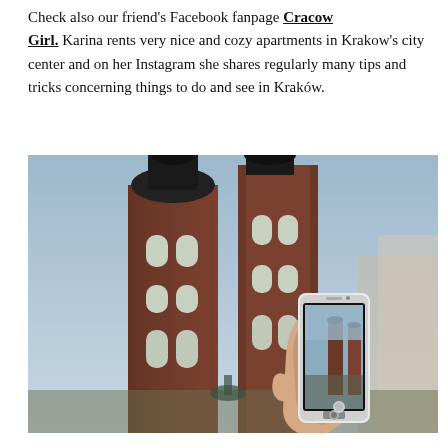Check also our friend's Facebook fanpage Cracow Girl. Karina rents very nice and cozy apartments in Krakow's city center and on her Instagram she shares regularly many tips and tricks concerning things to do and see in Kraków.
[Figure (photo): A hand holds a smartphone photographing the twin towers of St. Mary's Basilica in Kraków, Poland. The church's Gothic brick towers are visible both behind the phone and on the phone's screen, set against a soft blue-grey sky.]